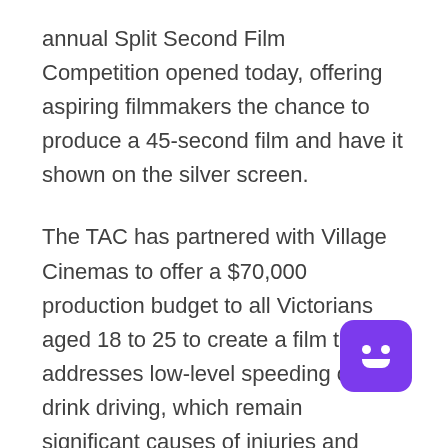annual Split Second Film Competition opened today, offering aspiring filmmakers the chance to produce a 45-second film and have it shown on the silver screen.
The TAC has partnered with Village Cinemas to offer a $70,000 production budget to all Victorians aged 18 to 25 to create a film that addresses low-level speeding or drink driving, which remain significant causes of injuries and deaths on our roads.
This year's winner will work with prestigious production company Sweet Shop to bring their film concept to life and receive $5000 prize money.
In its first three years, the Split Second Film Competition has received more than 600 entries,
[Figure (illustration): Purple rounded square chatbot icon with two white circular eyes and a white rounded rectangular smile]